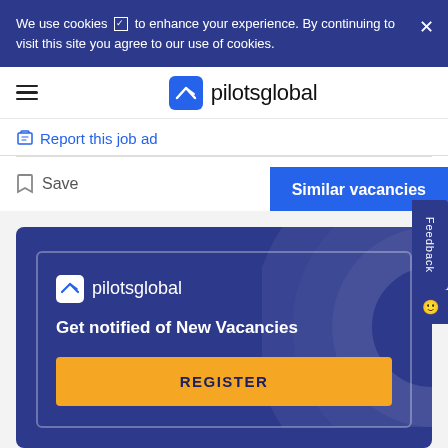We use cookies to enhance your experience. By continuing to visit this site you agree to our use of cookies.
[Figure (logo): pilotsglobal logo with airplane icon]
Report this job ad
Save
Similar vacancies
[Figure (screenshot): pilotsglobal promo card with 'Get notified of New Vacancies' and REGISTER button]